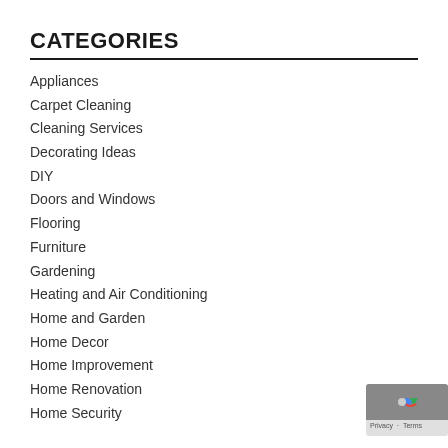CATEGORIES
Appliances
Carpet Cleaning
Cleaning Services
Decorating Ideas
DIY
Doors and Windows
Flooring
Furniture
Gardening
Heating and Air Conditioning
Home and Garden
Home Decor
Home Improvement
Home Renovation
Home Security